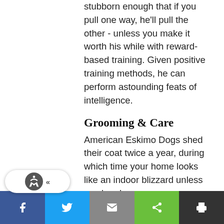stubborn enough that if you pull one way, he'll pull the other - unless you make it worth his while with reward-based training. Given positive training methods, he can perform astounding feats of intelligence.
Grooming & Care
American Eskimo Dogs shed their coat twice a year, during which time your home looks like an indoor blizzard unless you brush